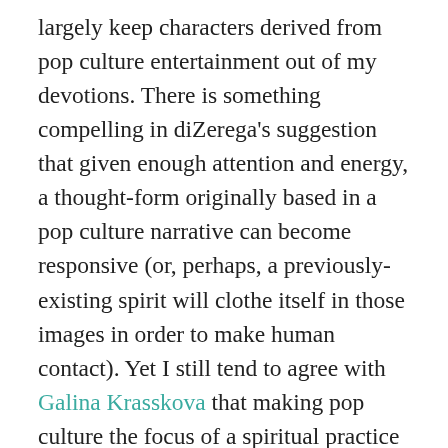largely keep characters derived from pop culture entertainment out of my devotions. There is something compelling in diZerega's suggestion that given enough attention and energy, a thought-form originally based in a pop culture narrative can become responsive (or, perhaps, a previously-existing spirit will clothe itself in those images in order to make human contact). Yet I still tend to agree with Galina Krasskova that making pop culture the focus of a spiritual practice could distract us from forming relationships with the partially forgotten, but potentially very responsive spirits of our local land and of our particular ancestors. (Krasskova's post is in response to Sunweaver's, as is this very interesting post on the nature of film vs. theater and its